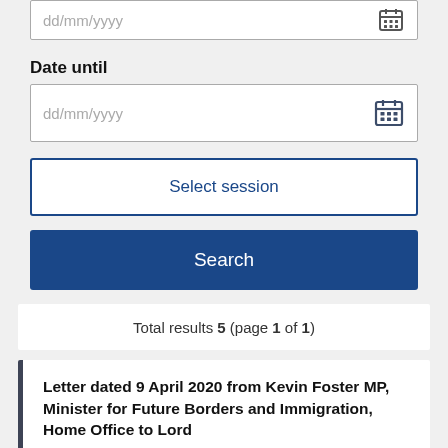dd/mm/yyyy (top, cropped)
Date until
dd/mm/yyyy
Select session
Search
Total results 5 (page 1 of 1)
Letter dated 9 April 2020 from Kevin Foster MP, Minister for Future Borders and Immigration, Home Office to Lord